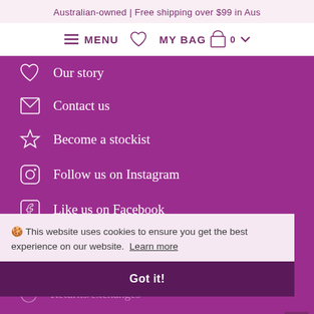Australian-owned | Free shipping over $99 in Aus
≡ MENU  ♡  MY BAG  🛍 0  ˅
Our story
Contact us
Become a stockist
Follow us on Instagram
Like us on Facebook
CUSTOMER CARE
🍪 This website uses cookies to ensure you get the best experience on our website.  Learn more
Got it!
Shipping
Returns/exchanges
Frequently Asked Questions
Privacy policy